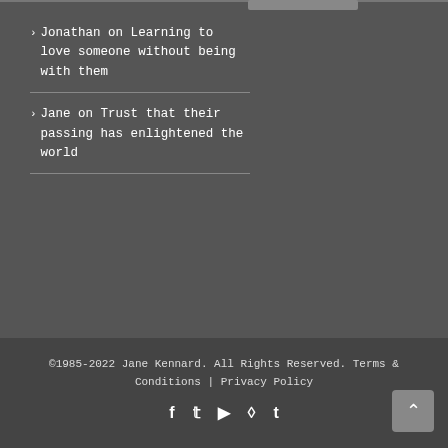Jonathan on Learning to love someone without being with them
Jane on Trust that their passing has enlightened the world
©1985-2022 Jane Kennard. All Rights Reserved. Terms & Conditions | Privacy Policy